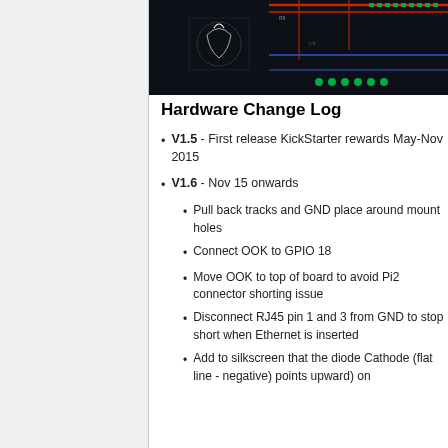[Figure (photo): PCB board layout showing circuit traces in red, blue, and green on dark background with a logo/silkscreen design]
Hardware Change Log
V1.5 - First release KickStarter rewards May-Nov 2015
V1.6 - Nov 15 onwards
Pull back tracks and GND place around mount holes
Connect OOK to GPIO 18
Move OOK to top of board to avoid Pi2 connector shorting issue
Disconnect RJ45 pin 1 and 3 from GND to stop short when Ethernet is inserted
Add to silkscreen that the diode Cathode (flat line - negative) points upward) on